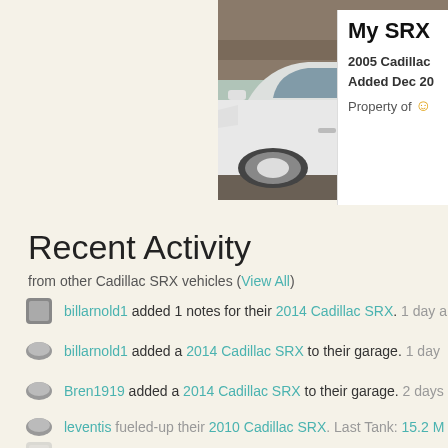[Figure (photo): White Cadillac SRX SUV parked outdoors, side view, partial crop]
My SRX
2005 Cadillac
Added Dec 20
Property of [user icon]
Recent Activity
from other Cadillac SRX vehicles (View All)
billarnold1 added 1 notes for their 2014 Cadillac SRX. 1 day a
billarnold1 added a 2014 Cadillac SRX to their garage. 1 day
Bren1919 added a 2014 Cadillac SRX to their garage. 2 days
leventis fueled-up their 2010 Cadillac SRX. Last Tank: 15.2 M
monepit added 1 notes for their 2012 Cadillac SRX. 5 days a